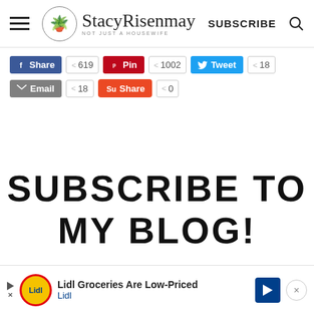Stacy Risenmay — SUBSCRIBE
[Figure (screenshot): Social share buttons row 1: Facebook Share 619, Pinterest Pin 1002, Twitter Tweet 18]
[Figure (screenshot): Social share buttons row 2: Email 18, Stumbleupon Share 0]
SUBSCRIBE TO MY BLOG!
[Figure (screenshot): Advertisement banner: Lidl Groceries Are Low-Priced, Lidl]